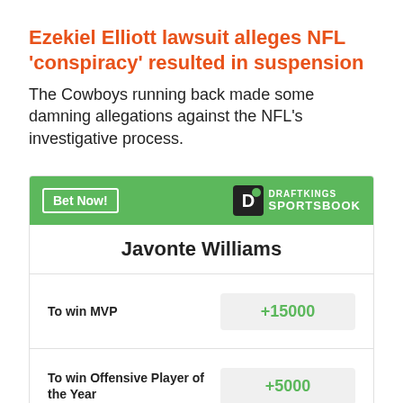Ezekiel Elliott lawsuit alleges NFL 'conspiracy' resulted in suspension
The Cowboys running back made some damning allegations against the NFL's investigative process.
|  |  |
| --- | --- |
| Javonte Williams |  |
| To win MVP | +15000 |
| To win Offensive Player of the Year | +5000 |
| Most Rushing Yards in | +2000 |